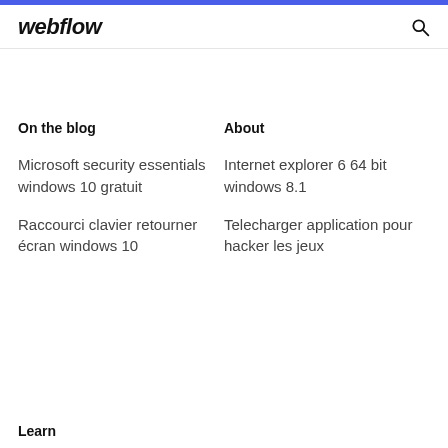webflow
On the blog
About
Microsoft security essentials windows 10 gratuit
Raccourci clavier retourner écran windows 10
Internet explorer 6 64 bit windows 8.1
Telecharger application pour hacker les jeux
Learn